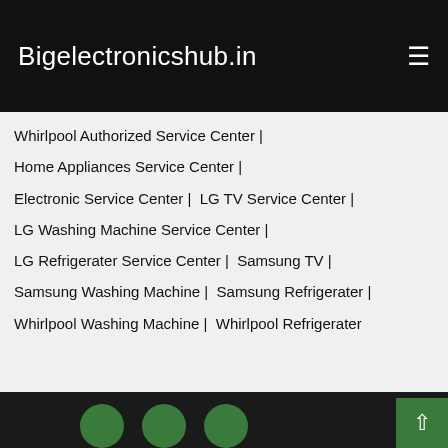Bigelectronicshub.in
Whirlpool Authorized Service Center |
Home Appliances Service Center |
Electronic Service Center |  LG TV Service Center |
LG Washing Machine Service Center |
LG Refrigerater Service Center |  Samsung TV |
Samsung Washing Machine |  Samsung Refrigerater |
Whirlpool Washing Machine |  Whirlpool Refrigerater